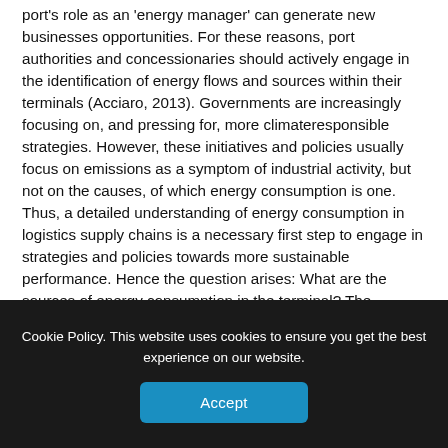port's role as an 'energy manager' can generate new businesses opportunities. For these reasons, port authorities and concessionaries should actively engage in the identification of energy flows and sources within their terminals (Acciaro, 2013). Governments are increasingly focusing on, and pressing for, more climateresponsible strategies. However, these initiatives and policies usually focus on emissions as a symptom of industrial activity, but not on the causes, of which energy consumption is one. Thus, a detailed understanding of energy consumption in logistics supply chains is a necessary first step to engage in strategies and policies towards more sustainable performance. Hence the question arises: What are the sources of energy consumption in the terminal? The authors argue that the main challenge is to identify the energy sources, usage time and assign the energy consumption to certain port operations.
[Figure (other): Blue rounded rectangle button labeled 'Download Technical Paper']
Cookie Policy. This website uses cookies to ensure you get the best experience on our website.
[Figure (other): Blue rounded rectangle button labeled 'Accept']